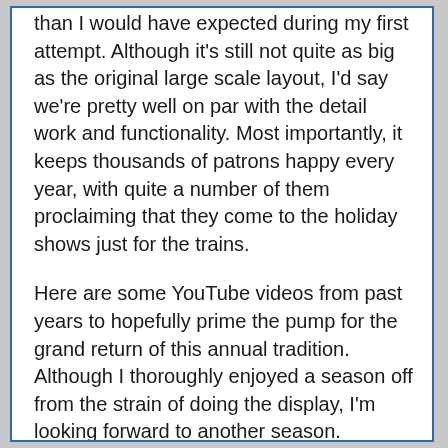than I would have expected during my first attempt. Although it's still not quite as big as the original large scale layout, I'd say we're pretty well on par with the detail work and functionality.  Most importantly, it keeps thousands of patrons happy every year, with quite a number of them proclaiming that they come to the holiday shows just for the trains.
Here are some YouTube videos from past years to hopefully prime the pump for the grand return of this annual tradition.  Although I thoroughly enjoyed a season off from the strain of doing the display, I'm looking forward to another season.
Tonight will mark the start of the project as we're going to visit the theater to do an initial cleanup and inventory of our supplies to try to help remember where we left things when the last